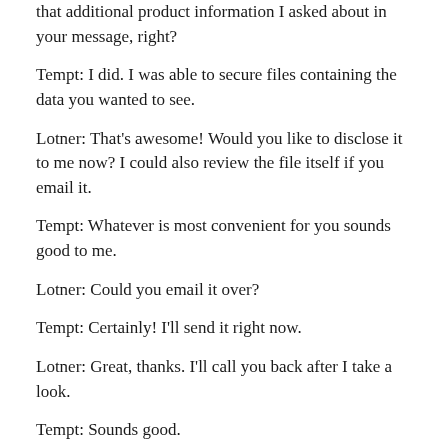that additional product information I asked about in your message, right?
Tempt: I did. I was able to secure files containing the data you wanted to see.
Lotner: That's awesome! Would you like to disclose it to me now? I could also review the file itself if you email it.
Tempt: Whatever is most convenient for you sounds good to me.
Lotner: Could you email it over?
Tempt: Certainly! I'll send it right now.
Lotner: Great, thanks. I'll call you back after I take a look.
Tempt: Sounds good.
In this example, neither caller is pushy, rude, or unprofessional, but it's apparent that they respect one another and understand that they're both rather busy. Mutual respect is a hallmark of the business world—and